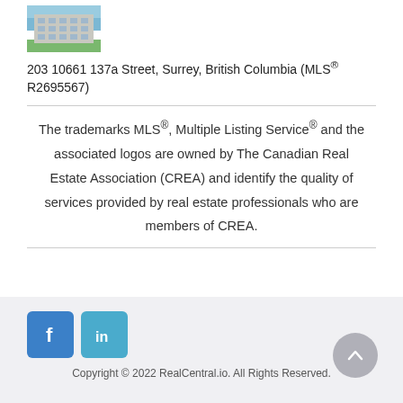[Figure (photo): Exterior photo of an apartment building with blue sky background]
203 10661 137a Street, Surrey, British Columbia (MLS® R2695567)
The trademarks MLS®, Multiple Listing Service® and the associated logos are owned by The Canadian Real Estate Association (CREA) and identify the quality of services provided by real estate professionals who are members of CREA.
Copyright © 2022 RealCentral.io. All Rights Reserved.